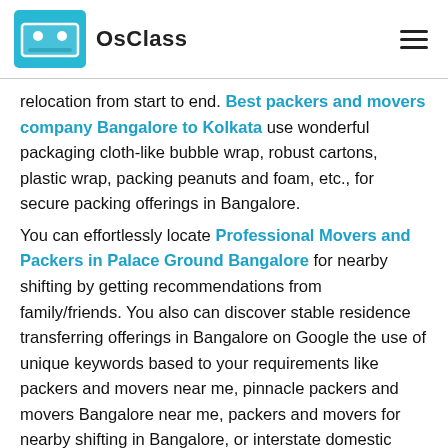OsClass
relocation from start to end. Best packers and movers company Bangalore to Kolkata use wonderful packaging cloth-like bubble wrap, robust cartons, plastic wrap, packing peanuts and foam, etc., for secure packing offerings in Bangalore.
You can effortlessly locate Professional Movers and Packers in Palace Ground Bangalore for nearby shifting by getting recommendations from family/friends. You also can discover stable residence transferring offerings in Bangalore on Google the use of unique keywords based to your requirements like packers and movers near me, pinnacle packers and movers Bangalore near me, packers and movers for nearby shifting in Bangalore, or interstate domestic packers and movers Bangalore".
To ensure you get in contact with the proper Packers and Movers Agencies in Indira Nagar Bangalore, you want to